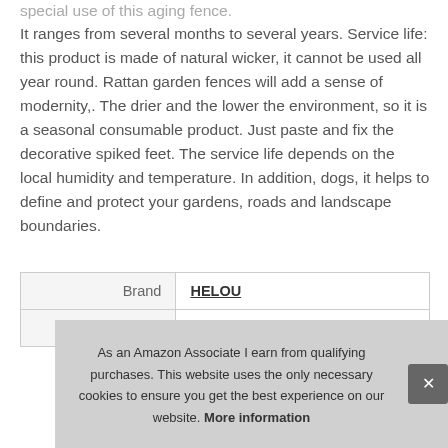special use of this aging fence.
It ranges from several months to several years. Service life: this product is made of natural wicker, it cannot be used all year round. Rattan garden fences will add a sense of modernity,. The drier and the lower the environment, so it is a seasonal consumable product. Just paste and fix the decorative spiked feet. The service life depends on the local humidity and temperature. In addition, dogs, it helps to define and protect your gardens, roads and landscape boundaries.
| Brand | HELOU |
| Manufacturer | kuailaiqian |
As an Amazon Associate I earn from qualifying purchases. This website uses the only necessary cookies to ensure you get the best experience on our website. More information